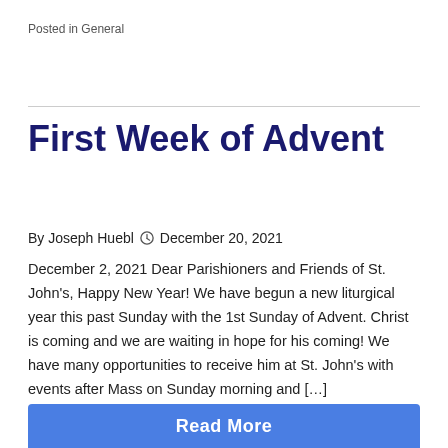Posted in General
First Week of Advent
By Joseph Huebl  December 20, 2021
December 2, 2021 Dear Parishioners and Friends of St. John's, Happy New Year! We have begun a new liturgical year this past Sunday with the 1st Sunday of Advent. Christ is coming and we are waiting in hope for his coming! We have many opportunities to receive him at St. John's with events after Mass on Sunday morning and […]
Read More